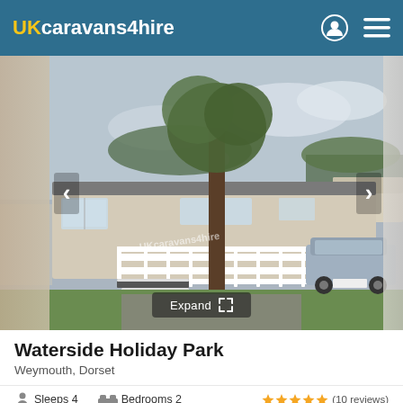UKcaravans4hire
[Figure (photo): Exterior photo of a static caravan/holiday home with white timber decking and fence, a tree in the foreground, a lamp post, green grass, and a parked SUV to the right. Overcast sky. Watermark reads UKcaravans4hire.]
Waterside Holiday Park
Weymouth, Dorset
Sleeps 4   Bedrooms 2   ★★★★★ (10 reviews)